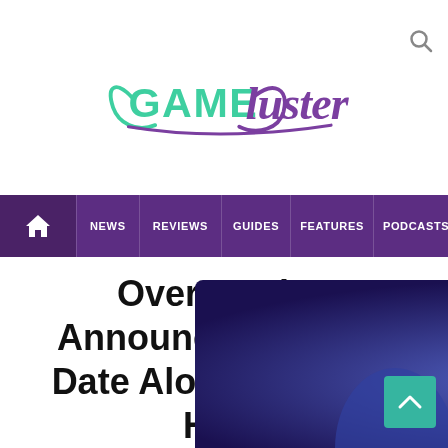GameLuster
Overwatch 2 Announces Launch Date Alongside New Hero
[Figure (screenshot): GameLuster website navigation bar with home icon, News, Reviews, Guides, Features, Podcasts, Vi... menu items on purple background]
[Figure (photo): Overwatch 2 hero characters on a blue/purple background, partially visible at the bottom of the page]